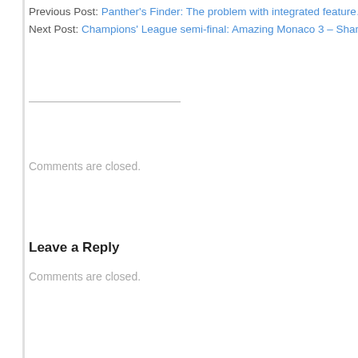Previous Post: Panther's Finder: The problem with integrated feature…
Next Post: Champions' League semi-final: Amazing Monaco 3 – Shameful C…
Comments are closed.
Leave a Reply
Comments are closed.